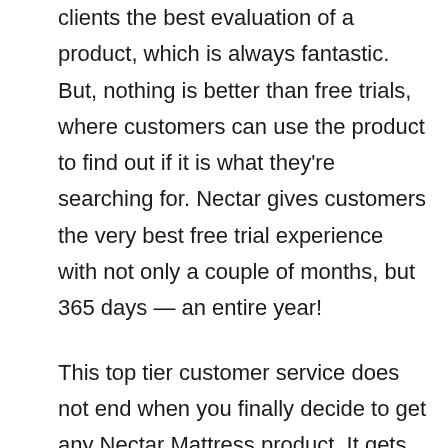clients the best evaluation of a product, which is always fantastic. But, nothing is better than free trials, where customers can use the product to find out if it is what they're searching for. Nectar gives customers the very best free trial experience with not only a couple of months, but 365 days — an entire year!
This top tier customer service does not end when you finally decide to get any Nectar Mattress product. It gets even better. Nectar prides itself towards encouraging customers across the entire lifetime of each Mattress, providing buyers the option for a cover replacement anytime and a "bed bug replacement warranty." Even when you